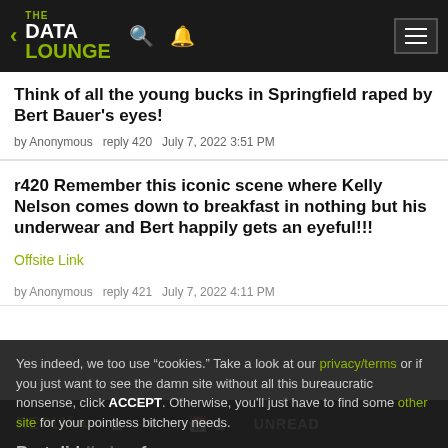THE DATA LOUNGE
Think of all the young bucks in Springfield raped by Bert Bauer's eyes!
by Anonymous   reply 420   July 7, 2022 3:51 PM
r420 Remember this iconic scene where Kelly Nelson comes down to breakfast in nothing but his underwear and Bert happily gets an eyeful!!!
Offsite Link
by Anonymous   reply 421   July 7, 2022 4:11 PM
Bert did...
Yes indeed, we too use "cookies." Take a look at our privacy/terms or if you just want to see the damn site without all this bureaucratic nonsense, click ACCEPT. Otherwise, you'll just have to find some other site for your pointless bitchery needs.
REPLY  ▲  ▼  UNREAD